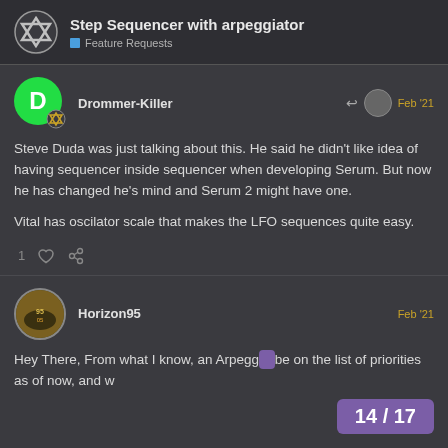Step Sequencer with arpeggiator – Feature Requests
Drommer-Killer – Feb '21
Steve Duda was just talking about this. He said he didn't like idea of having sequencer inside sequencer when developing Serum. But now he has changed he's mind and Serum 2 might have one.

Vital has oscilator scale that makes the LFO sequences quite easy.
1 [like] [link]
Horizon95 – Feb '21
Hey There, From what I know, an Arpegg… be on the list of priorities as of now, and w…
14 / 17